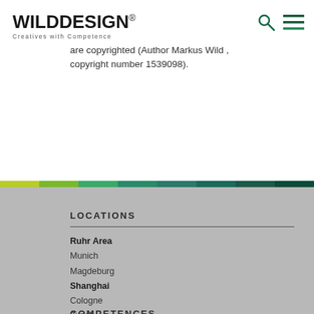WILD DESIGN® — Creatives with Competence
are copyrighted (Author Markus Wild , copyright number 1539098).
LOCATIONS
Ruhr Area
Munich
Magdeburg
Shanghai
Cologne
Zurich
COMPETENCES